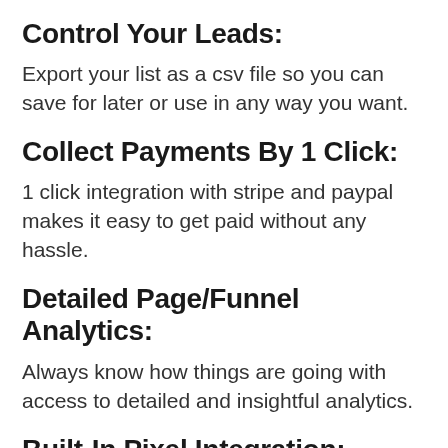Control Your Leads:
Export your list as a csv file so you can save for later or use in any way you want.
Collect Payments By 1 Click:
1 click integration with stripe and paypal makes it easy to get paid without any hassle.
Detailed Page/Funnel Analytics:
Always know how things are going with access to detailed and insightful analytics.
Built-In Pixel Integration: